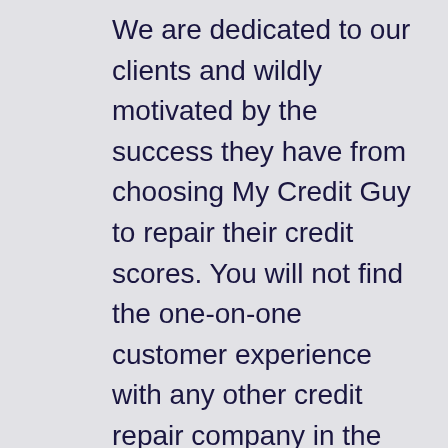We are dedicated to our clients and wildly motivated by the success they have from choosing My Credit Guy to repair their credit scores. You will not find the one-on-one customer experience with any other credit repair company in the financial services industry. Our experiences and successful track record speaks for itself. Learn more about our experienced and dedicated team below.